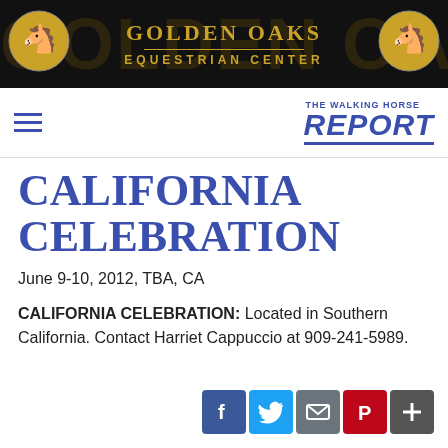[Figure (logo): Golden Oaks Equestrian Center banner with dark background, gold text, and horse logos on left and right]
THE WALKING HORSE REPORT
CALIFORNIA CELEBRATION
June 9-10, 2012, TBA, CA
CALIFORNIA CELEBRATION: Located in Southern California. Contact Harriet Cappuccio at 909-241-5989.
[Figure (other): Social media share icons: Facebook, Twitter, Email, Pinterest, Plus]